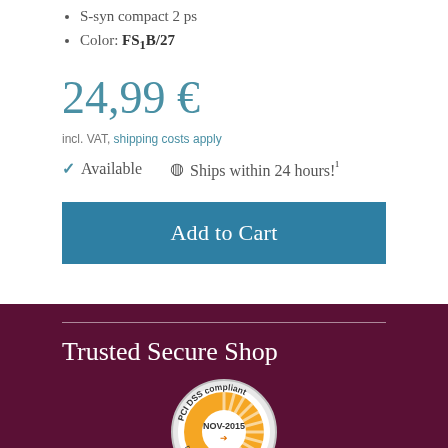S-syn compact 2 ps
Color: FS1B/27
24,99 €
incl. VAT, shipping costs apply
✓ Available   🕐 Ships within 24 hours!¹
Add to Cart
Trusted Secure Shop
[Figure (logo): PCI DSS compliant badge with NOV-2015 date and 'more security · usd' text, orange sunburst design with silver border]